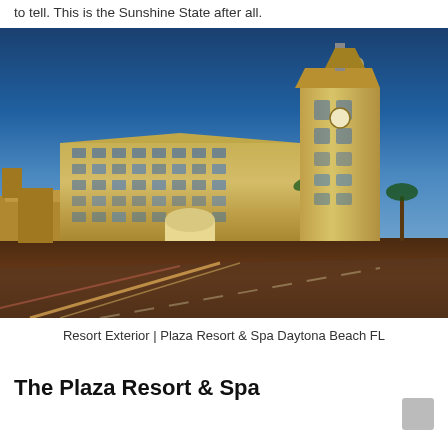to tell. This is the Sunshine State after all.
[Figure (photo): Exterior night/dusk photo of The Plaza Resort & Spa in Daytona Beach, FL. A large multi-story hotel building with a tall clock tower on the right, Spanish/Mediterranean architectural style, warm golden building facade, palm trees in front, blue twilight sky, road with light trails in foreground.]
Resort Exterior | Plaza Resort & Spa Daytona Beach FL
The Plaza Resort & Spa